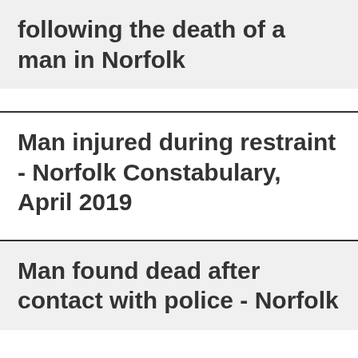following the death of a man in Norfolk
Man injured during restraint - Norfolk Constabulary, April 2019
Man found dead after contact with police - Norfolk